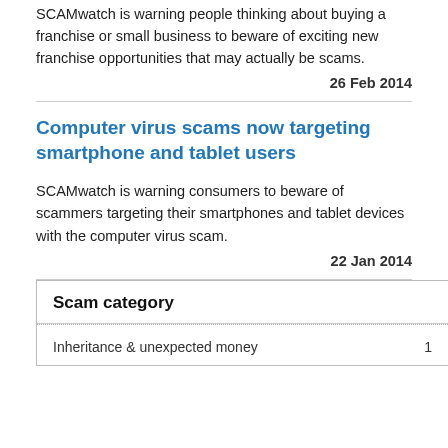SCAMwatch is warning people thinking about buying a franchise or small business to beware of exciting new franchise opportunities that may actually be scams.
26 Feb 2014
Computer virus scams now targeting smartphone and tablet users
SCAMwatch is warning consumers to beware of scammers targeting their smartphones and tablet devices with the computer virus scam.
22 Jan 2014
| Scam category |  |
| --- | --- |
| Inheritance & unexpected money | 1 |